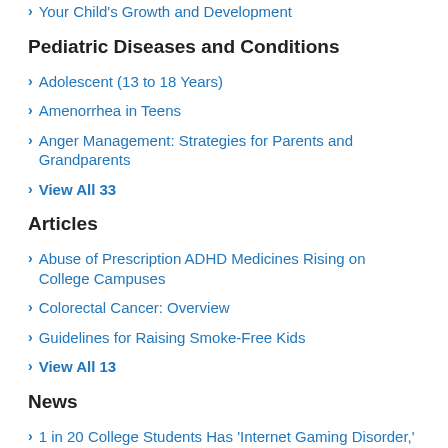Your Child's Growth and Development
Pediatric Diseases and Conditions
Adolescent (13 to 18 Years)
Amenorrhea in Teens
Anger Management: Strategies for Parents and Grandparents
View All 33
Articles
Abuse of Prescription ADHD Medicines Rising on College Campuses
Colorectal Cancer: Overview
Guidelines for Raising Smoke-Free Kids
View All 13
News
1 in 20 College Students Has 'Internet Gaming Disorder,' Study Finds